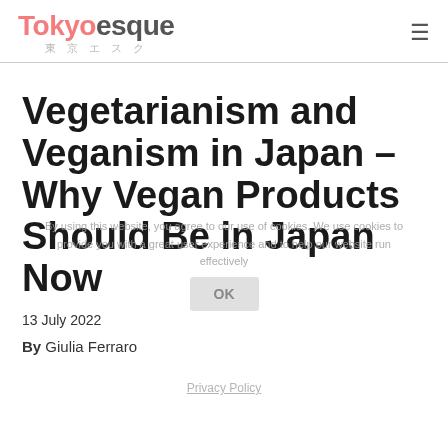Tokyoesque 東 京 エ ス ク
Vegetarianism and Veganism in Japan – Why Vegan Products Should Be in Japan Now
13 July 2022
By Giulia Ferraro